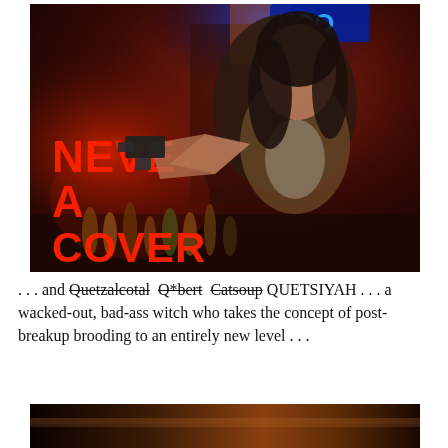[Figure (photo): A woman in a bar or nightclub setting at night, pointing a gun at the camera. In the background is a neon sign reading 'NEVER A COVER' in red. The scene is dark and cinematic.]
. . . and Quetzalcotal Q*bert Catsoup QUETSIYAH . . . a wacked-out, bad-ass witch who takes the concept of post-breakup brooding to an entirely new level . . .
[Figure (photo): Partial view of a dark cinematic scene, bottom of page, showing a warm amber/dark interior.]